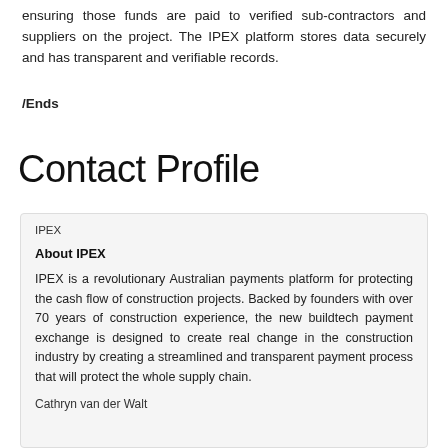ensuring those funds are paid to verified sub-contractors and suppliers on the project. The IPEX platform stores data securely and has transparent and verifiable records.
/Ends
Contact Profile
IPEX
About IPEX
IPEX is a revolutionary Australian payments platform for protecting the cash flow of construction projects. Backed by founders with over 70 years of construction experience, the new buildtech payment exchange is designed to create real change in the construction industry by creating a streamlined and transparent payment process that will protect the whole supply chain.
Cathryn van der Walt